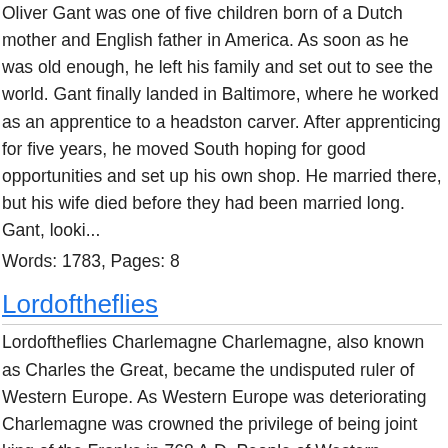Oliver Gant was one of five children born of a Dutch mother and English father in America. As soon as he was old enough, he left his family and set out to see the world. Gant finally landed in Baltimore, where he worked as an apprentice to a headston carver. After apprenticing for five years, he moved South hoping for good opportunities and set up his own shop. He married there, but his wife died before they had been married long. Gant, looki...
Words: 1783, Pages: 8
Lordoftheflies
Lordoftheflies Charlemagne Charlemagne, also known as Charles the Great, became the undisputed ruler of Western Europe. As Western Europe was deteriorating Charlemagne was crowned the privilege of being joint king of the Franks in 768 A.D. People of Western Europe, excluding the church followers, had all but forgotten the great gifts of education and